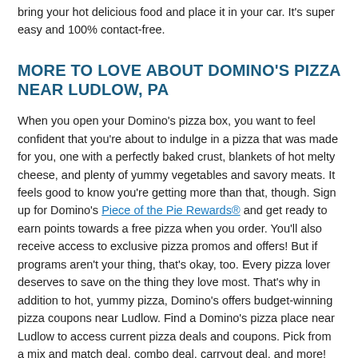bring your hot delicious food and place it in your car. It's super easy and 100% contact-free.
MORE TO LOVE ABOUT DOMINO'S PIZZA NEAR LUDLOW, PA
When you open your Domino's pizza box, you want to feel confident that you're about to indulge in a pizza that was made for you, one with a perfectly baked crust, blankets of hot melty cheese, and plenty of yummy vegetables and savory meats. It feels good to know you're getting more than that, though. Sign up for Domino's Piece of the Pie Rewards® and get ready to earn points towards a free pizza when you order. You'll also receive access to exclusive pizza promos and offers! But if programs aren't your thing, that's okay, too. Every pizza lover deserves to save on the thing they love most. That's why in addition to hot, yummy pizza, Domino's offers budget-winning pizza coupons near Ludlow. Find a Domino's pizza place near Ludlow to access current pizza deals and coupons. Pick from a mix and match deal, combo deal, carryout deal, and more! You never know what type of pizza coupon your local store will offer. When it comes to